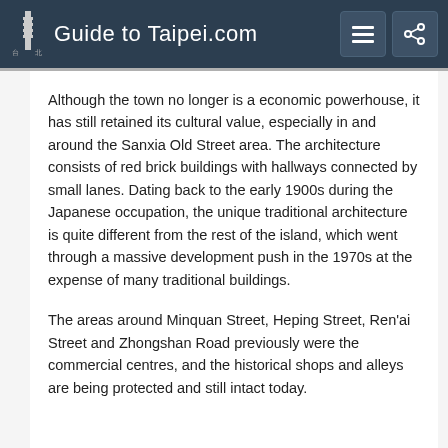Guide to Taipei.com
Although the town no longer is a economic powerhouse, it has still retained its cultural value, especially in and around the Sanxia Old Street area. The architecture consists of red brick buildings with hallways connected by small lanes. Dating back to the early 1900s during the Japanese occupation, the unique traditional architecture is quite different from the rest of the island, which went through a massive development push in the 1970s at the expense of many traditional buildings.
The areas around Minquan Street, Heping Street, Ren'ai Street and Zhongshan Road previously were the commercial centres, and the historical shops and alleys are being protected and still intact today.